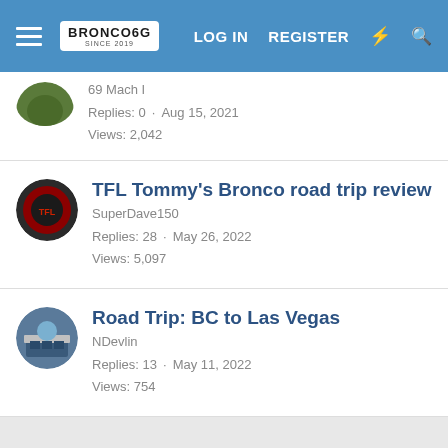BRONCO6G.COM SINCE 2019 | LOG IN | REGISTER
69 Mach I
Replies: 0 · Aug 15, 2021
Views: 2,042
TFL Tommy's Bronco road trip review
SuperDave150
Replies: 28 · May 26, 2022
Views: 5,097
Road Trip: BC to Las Vegas
NDevlin
Replies: 13 · May 11, 2022
Views: 754